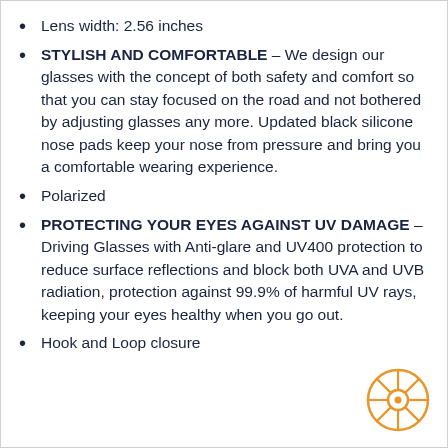Lens width: 2.56 inches
STYLISH AND COMFORTABLE – We design our glasses with the concept of both safety and comfort so that you can stay focused on the road and not bothered by adjusting glasses any more. Updated black silicone nose pads keep your nose from pressure and bring you a comfortable wearing experience.
Polarized
PROTECTING YOUR EYES AGAINST UV DAMAGE – Driving Glasses with Anti-glare and UV400 protection to reduce surface reflections and block both UVA and UVB radiation, protection against 99.9% of harmful UV rays, keeping your eyes healthy when you go out.
Hook and Loop closure
[Figure (logo): Orange circular wheel/tire icon logo in bottom right corner]